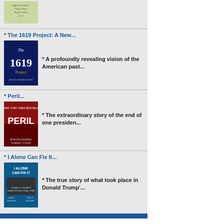[Figure (illustration): Book cover thumbnail, green/light colored]
* The 1619 Project: A New...
[Figure (illustration): The 1619 Project book cover, dark blue with large 1619 text]
* A profoundly revealing vision of the American past...
* Peril...
[Figure (illustration): Peril book cover, red and dark with Bob Woodward and Robert Costa byline]
* The extraordinary story of the end of one presiden...
* I Alone Can Fix It...
[Figure (illustration): I Alone Can Fix It book cover, blue with Donald Trump's image]
* The true story of what took place in Donald Trump'...